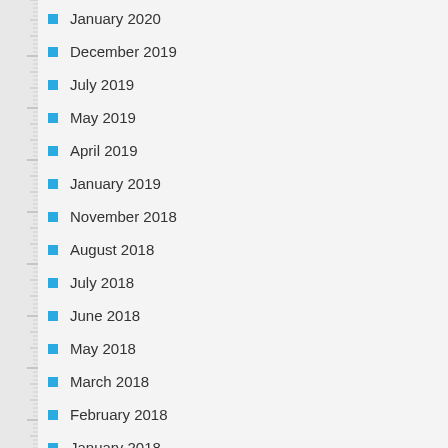January 2020
December 2019
July 2019
May 2019
April 2019
January 2019
November 2018
August 2018
July 2018
June 2018
May 2018
March 2018
February 2018
January 2018